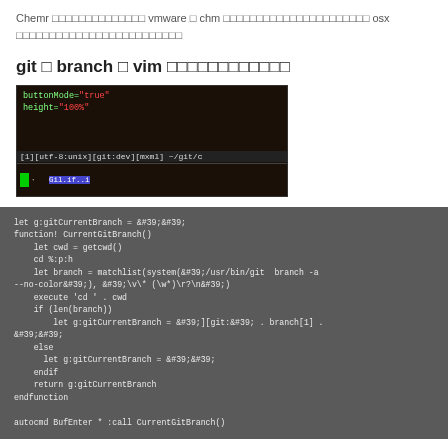Chemr □□□□□□□□□□□□□□ vmware □ chm □□□□□□□□□□□□□□□□□□□□□□ osx □□□□□□□□□□□□□□□□□□□□□□□□□
git □ branch □ vim □□□□□□□□□□□□
[Figure (screenshot): Screenshot of vim editor showing XML code with buttonMode and height attributes, and a git status bar at the bottom]
let g:gitCurrentBranch = &#39;&#39;
function! CurrentGitBranch()
    let cwd = getcwd()
    cd %:p:h
    let branch = matchlist(system(&#39;/usr/bin/git  branch -a --no-color&#39;), &#39;\v\* (\w*)\r?\n&#39;)
    execute 'cd ' . cwd
    if (len(branch))
        let g:gitCurrentBranch = &#39;][git:&#39; . branch[1] . &#39;&#39;
    else
      let g:gitCurrentBranch = &#39;&#39;
    endif
    return g:gitCurrentBranch
endfunction

autocmd BufEnter * :call CurrentGitBranch()